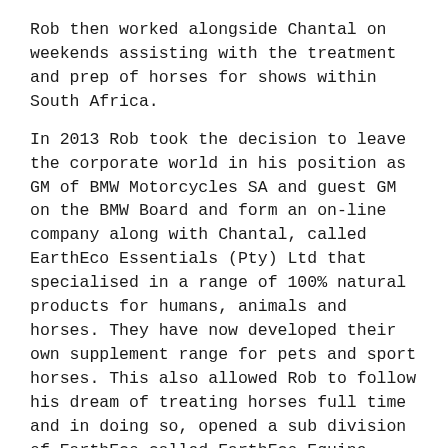Rob then worked alongside Chantal on weekends assisting with the treatment and prep of horses for shows within South Africa.
In 2013 Rob took the decision to leave the corporate world in his position as GM of BMW Motorcycles SA and guest GM on the BMW Board and form an on-line company along with Chantal, called EarthEco Essentials (Pty) Ltd that specialised in a range of 100% natural products for humans, animals and horses. They have now developed their own supplement range for pets and sport horses. This also allowed Rob to follow his dream of treating horses full time and in doing so, opened a sub division of EarthEco called EarthEco Equine Services.
Rob also took this as an opportunity to work towards his Masterson Method Certified Practitioner qualification and achieved this in the UK in May 2016 adding to the On-Line two day Masterson Method course, Equine Anatomy for sport horse (USA), Two day Masterson weekend seminar and